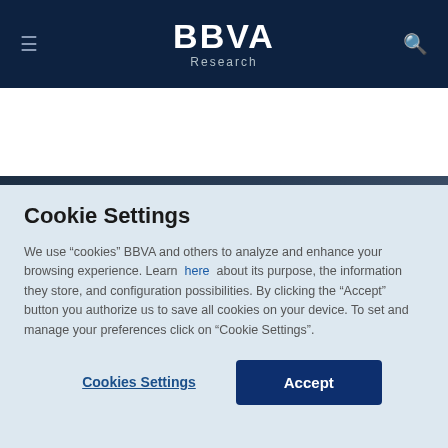BBVA Research
[Figure (photo): Hero image showing hands exchanging money with overlay text 'market and increase poverty']
Cookie Settings
We use “cookies” BBVA and others to analyze and enhance your browsing experience. Learn here about its purpose, the information they store, and configuration possibilities. By clicking the “Accept” button you authorize us to save all cookies on your device. To set and manage your preferences click on “Cookie Settings”.
Cookies Settings | Accept